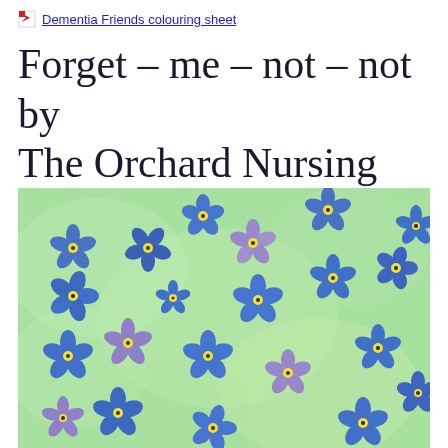Dementia Friends colouring sheet
Forget – me – not – not by The Orchard Nursing Home
[Figure (illustration): Coloured illustration of forget-me-not flowers with blue and purple petals and yellow centres scattered across a green watercolour background]